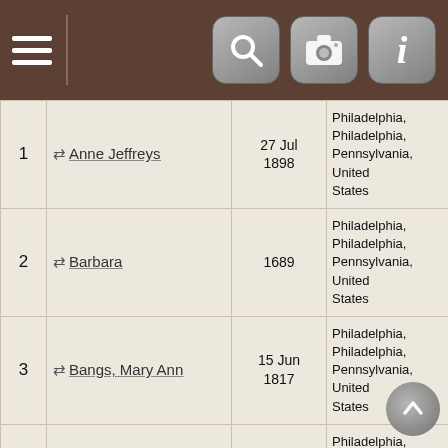Navigation bar with hamburger menu, search, camera, and info icons
| # | Name | Date | Place | ID |
| --- | --- | --- | --- | --- |
| 1 | Anne Jeffreys | 27 Jul 1898 | Philadelphia, Philadelphia, Pennsylvania, United States | I877932930 |
| 2 | Barbara | 1689 | Philadelphia, Philadelphia, Pennsylvania, United States | I175585593 |
| 3 | Bangs, Mary Ann | 15 Jun 1817 | Philadelphia, Philadelphia, Pennsylvania, United States | I175585646 |
| 4 | Barnhill, Margaret |  | Philadelphia, Philadelphia, Pennsylvania, United States | I877932979 |
| 5 | Budd, Rose | 13 Jan 1681 | Philadelphia, Philadelphia, Pennsylvania, United States | I877923002 |